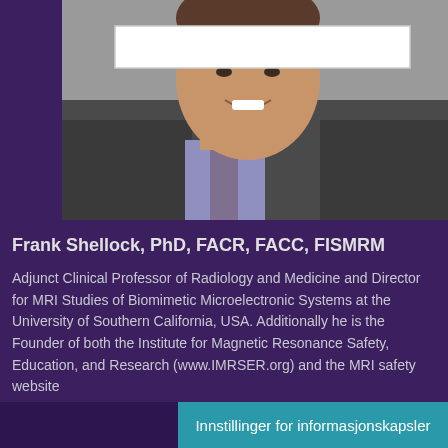[Figure (photo): Headshot photo of Frank Shellock in dark suit with purple/lavender shirt and tie, smiling, against gray background. A white search bar overlay appears at the top of the photo.]
Frank Shellock, PhD, FACR, FACC, FISMRM
Adjunct Clinical Professor of Radiology and Medicine and Director for MRI Studies of Biomimetic Microelectronic Systems at the University of Southern California, USA. Additionally he is the Founder of both the Institute for Magnetic Resonance Safety, Education, and Research (www.IMRSER.org) and the MRI safety website www.MRIsafety.com.
Innstillinger for informasjonskapsler